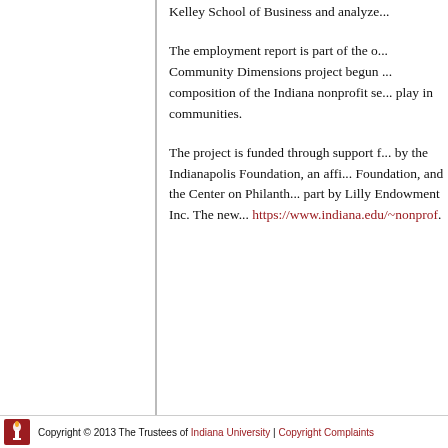Kelley School of Business and analyze...
The employment report is part of the o... Community Dimensions project begun ... composition of the Indiana nonprofit se... play in communities.
The project is funded through support f... by the Indianapolis Foundation, an affi... Foundation, and the Center on Philanth... part by Lilly Endowment Inc. The new... https://www.indiana.edu/~nonprof.
Copyright © 2013 The Trustees of Indiana University | Copyright Complaints